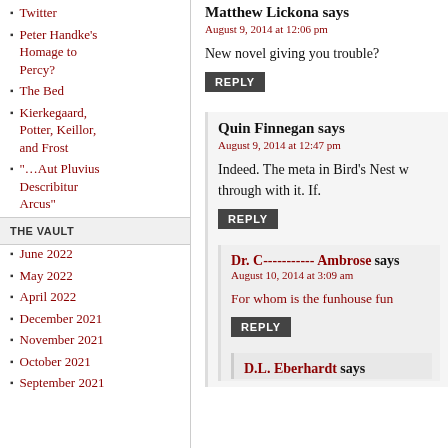Twitter
Peter Handke's Homage to Percy?
The Bed
Kierkegaard, Potter, Keillor, and Frost
“…Aut Pluvius Describitur Arcus”
THE VAULT
June 2022
May 2022
April 2022
December 2021
November 2021
October 2021
September 2021
Matthew Lickona says
August 9, 2014 at 12:06 pm
New novel giving you trouble?
Quin Finnegan says
August 9, 2014 at 12:47 pm
Indeed. The meta in Bird’s Nest w through with it. If.
Dr. C----------- Ambrose says
August 10, 2014 at 3:09 am
For whom is the funhouse fun
D.L. Eberhardt says